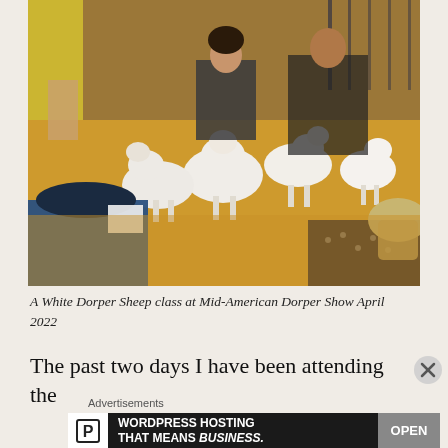[Figure (photo): A group of white Dorper sheep lambs on a yellow straw-covered floor at a livestock show, with several people crouching and handling the sheep. People in the background include a woman in the center and a man to the right, with show pens visible. In the foreground, two people with their backs to the camera handle lambs.]
A White Dorper Sheep class at Mid-American Dorper Show April 2022
The past two days I have been attending the